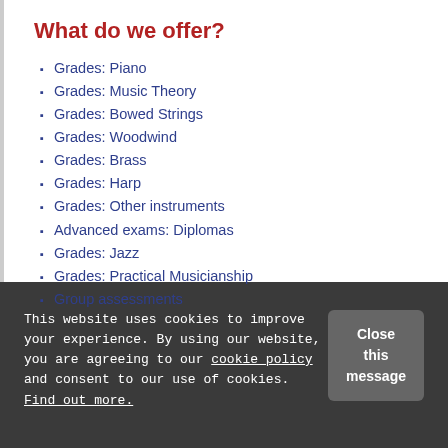What do we offer?
Grades: Piano
Grades: Music Theory
Grades: Bowed Strings
Grades: Woodwind
Grades: Brass
Grades: Harp
Grades: Other instruments
Advanced exams: Diplomas
Grades: Jazz
Grades: Practical Musicianship
Group assessments
This website uses cookies to improve your experience. By using our website, you are agreeing to our cookie policy and consent to our use of cookies. Find out more.
Close this message